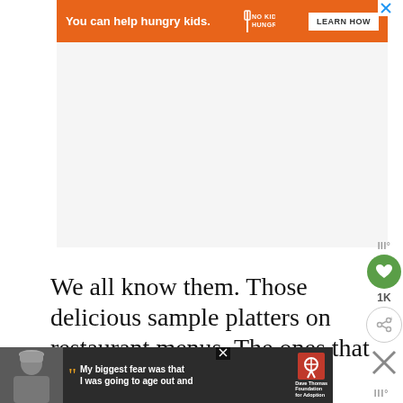[Figure (other): Orange advertisement banner: 'You can help hungry kids.' with No Kid Hungry logo and 'LEARN HOW' button]
We all know them. Those delicious sample platters on restaurant menus. The ones that always sound so enticing… loaded with every fried thing you can imagine.
[Figure (other): Bottom advertisement banner for Dave Thomas Foundation for Adoption: 'My biggest fear was that I was going to age out and' with a photo of a person]